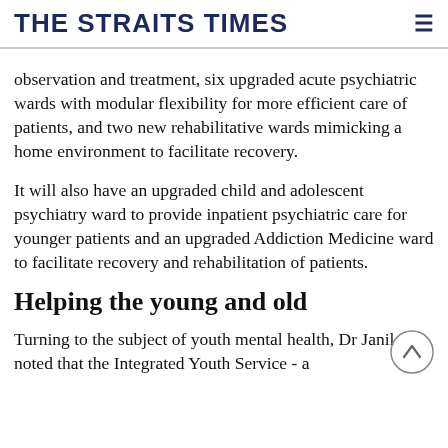THE STRAITS TIMES
observation and treatment, six upgraded acute psychiatric wards with modular flexibility for more efficient care of patients, and two new rehabilitative wards mimicking a home environment to facilitate recovery.
It will also have an upgraded child and adolescent psychiatry ward to provide inpatient psychiatric care for younger patients and an upgraded Addiction Medicine ward to facilitate recovery and rehabilitation of patients.
Helping the young and old
Turning to the subject of youth mental health, Dr Janil noted that the Integrated Youth Service - a